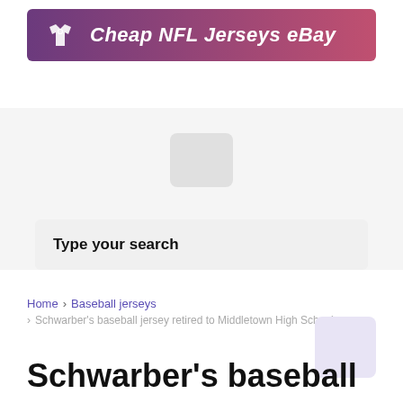[Figure (logo): Banner with t-shirt icon and text 'Cheap NFL Jerseys eBay' on a purple-to-pink gradient background]
[Figure (other): Grey placeholder rectangle representing an image]
Type your search
Home > Baseball jerseys > Schwarber's baseball jersey retired to Middletown High School
Schwarber's baseball